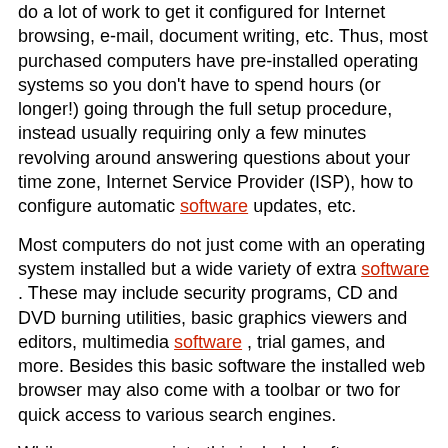do a lot of work to get it configured for Internet browsing, e-mail, document writing, etc. Thus, most purchased computers have pre-installed operating systems so you don't have to spend hours (or longer!) going through the full setup procedure, instead usually requiring only a few minutes revolving around answering questions about your time zone, Internet Service Provider (ISP), how to configure automatic software updates, etc.
Most computers do not just come with an operating system installed but a wide variety of extra software . These may include security programs, CD and DVD burning utilities, basic graphics viewers and editors, multimedia software , trial games, and more. Besides this basic software the installed web browser may also come with a toolbar or two for quick access to various search engines.
While some appreciate this included software, treating it as a "free bonus" when purchasing a computer, others prefer a cleaner machine, free of extraneous applications and utilities. Thus, some have labeled this pre-installed software as "bloatware", calling it such because they feel the software is excessive and "fills up" the computer's hard drive and processing power prematurely.
Why exactly is this software installed on new machines, and what problems can it cause?
First, let's discuss a few typical categories of bloatware:
* Security Software - Unfortunately, some computer operating systems have been so insecure that they could become infected